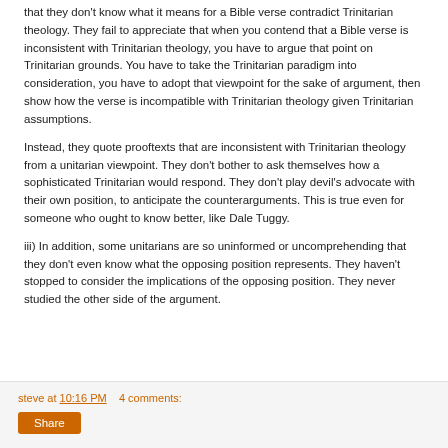that they don't know what it means for a Bible verse contradict Trinitarian theology. They fail to appreciate that when you contend that a Bible verse is inconsistent with Trinitarian theology, you have to argue that point on Trinitarian grounds. You have to take the Trinitarian paradigm into consideration, you have to adopt that viewpoint for the sake of argument, then show how the verse is incompatible with Trinitarian theology given Trinitarian assumptions.
Instead, they quote prooftexts that are inconsistent with Trinitarian theology from a unitarian viewpoint. They don't bother to ask themselves how a sophisticated Trinitarian would respond. They don't play devil's advocate with their own position, to anticipate the counterarguments. This is true even for someone who ought to know better, like Dale Tuggy.
iii) In addition, some unitarians are so uninformed or uncomprehending that they don't even know what the opposing position represents. They haven't stopped to consider the implications of the opposing position. They never studied the other side of the argument.
steve at 10:16 PM    4 comments: